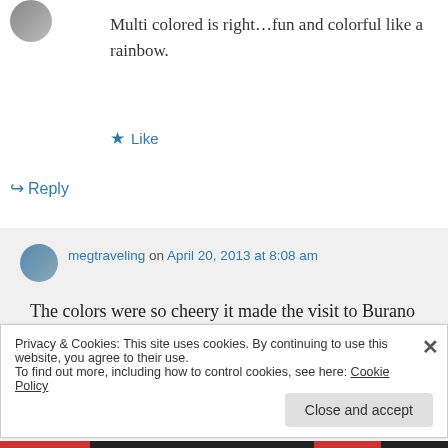[Figure (photo): Small circular avatar photo of a person, top left]
Multi colored is right…fun and colorful like a rainbow.
★ Like
↳ Reply
megtraveling on April 20, 2013 at 8:08 am
[Figure (photo): Small circular avatar of megtraveling user]
The colors were so cheery it made the visit to Burano lots of fun!
Privacy & Cookies: This site uses cookies. By continuing to use this website, you agree to their use.
To find out more, including how to control cookies, see here: Cookie Policy
Close and accept